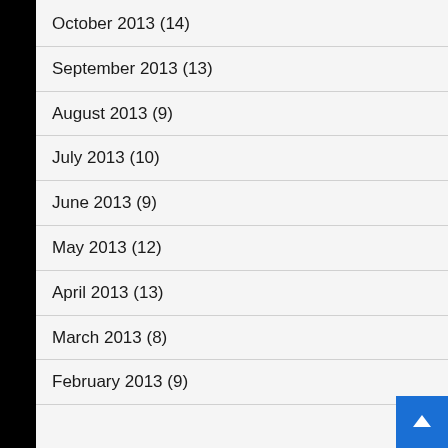October 2013 (14)
September 2013 (13)
August 2013 (9)
July 2013 (10)
June 2013 (9)
May 2013 (12)
April 2013 (13)
March 2013 (8)
February 2013 (9)